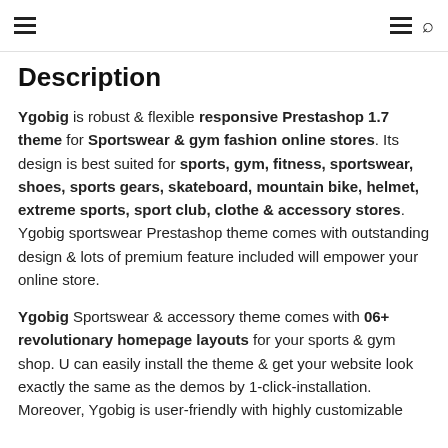[hamburger menu icon] [hamburger menu icon] [search icon]
Description
Ygobig is robust & flexible responsive Prestashop 1.7 theme for Sportswear & gym fashion online stores. Its design is best suited for sports, gym, fitness, sportswear, shoes, sports gears, skateboard, mountain bike, helmet, extreme sports, sport club, clothe & accessory stores. Ygobig sportswear Prestashop theme comes with outstanding design & lots of premium feature included will empower your online store.
Ygobig Sportswear & accessory theme comes with 06+ revolutionary homepage layouts for your sports & gym shop. U can easily install the theme & get your website look exactly the same as the demos by 1-click-installation. Moreover, Ygobig is user-friendly with highly customizable